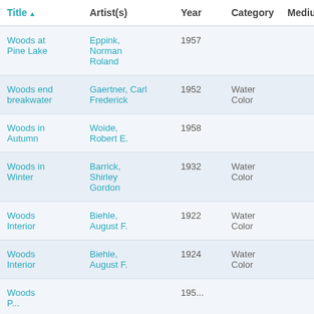| Title | Artist(s) | Year | Category | Medium | Awar |
| --- | --- | --- | --- | --- | --- |
| Woods at Pine Lake | Eppink, Norman Roland | 1957 |  |  |  |
| Woods end breakwater | Gaertner, Carl Frederick | 1952 | Water Color |  |  |
| Woods in Autumn | Woide, Robert E. | 1958 |  |  |  |
| Woods in Winter | Barrick, Shirley Gordon | 1932 | Water Color |  |  |
| Woods Interior | Biehle, August F. | 1922 | Water Color |  |  |
| Woods Interior | Biehle, August F. | 1924 | Water Color |  |  |
| Woods Pattern |  | 1957 |  |  |  |